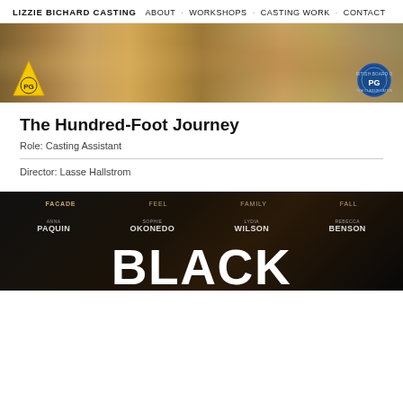LIZZIE BICHARD CASTING  ABOUT · WORKSHOPS · CASTING WORK · CONTACT
[Figure (photo): A food-themed film banner showing a table with fish and various dishes being served, with a yellow triangle PG badge on the left and a blue circular PG badge on the right.]
The Hundred-Foot Journey
Role: Casting Assistant
Director: Lasse Hallstrom
[Figure (photo): A dark movie poster with text: FACADE, FEEL, FAMILY, FALL; actors ANNA PAQUIN, SOPHIE OKONEDO, LYDIA WILSON, REBECCA BENSON; and large white text 'BLACK' at the bottom.]